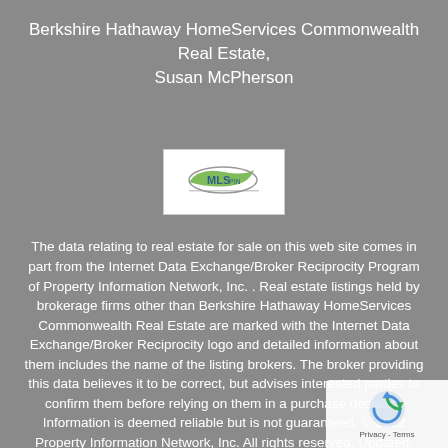Berkshire Hathaway HomeServices Commonwealth Real Estate, Susan McPherson
[Figure (logo): MLS PIN / MLS logo — white rectangular box with green and grey MLS branding mark]
The data relating to real estate for sale on this web site comes in part from the Internet Data Exchange/Broker Reciprocity Program of Property Information Network, Inc. . Real estate listings held by brokerage firms other than Berkshire Hathaway HomeServices Commonwealth Real Estate are marked with the Internet Data Exchange/Broker Reciprocity logo and detailed information about them includes the name of the listing brokers. The broker providing this data believes it to be correct, but advises interested parties to confirm them before relying on them in a purchase decision. Information is deemed reliable but is not guaranteed. © 2022 Property Information Network, Inc. All rights reserved. Updated: 09/02/2022 10:58 AM